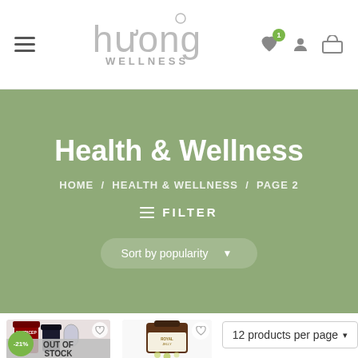Huong Wellness navigation bar with hamburger menu, logo, heart icon with badge 1, user icon, and cart icon
Health & Wellness
HOME / HEALTH & WELLNESS / PAGE 2
≡ FILTER
Sort by popularity
[Figure (screenshot): Product card showing Nutricep product with -21% badge and OUT OF STOCK overlay, with wishlist button]
[Figure (screenshot): Product card showing Royal Jelly supplement bottle with wishlist button]
12 products per page